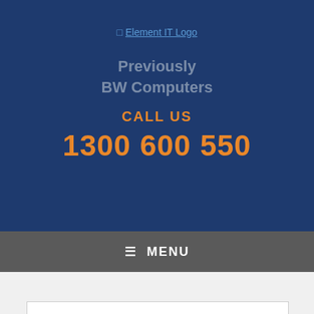[Figure (logo): Element IT Logo - broken image placeholder with alt text 'Element IT Logo' in blue link color]
Previously
BW Computers
CALL US
1300 600 550
≡ MENU